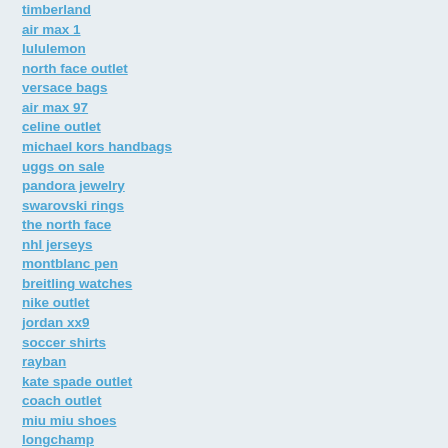timberland
air max 1
lululemon
north face outlet
versace bags
air max 97
celine outlet
michael kors handbags
uggs on sale
pandora jewelry
swarovski rings
the north face
nhl jerseys
montblanc pen
breitling watches
nike outlet
jordan xx9
soccer shirts
rayban
kate spade outlet
coach outlet
miu miu shoes
longchamp
maillot de foot